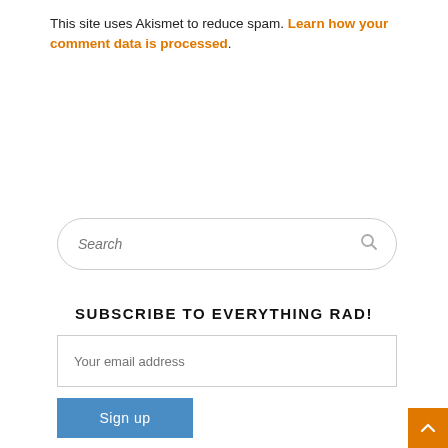This site uses Akismet to reduce spam. Learn how your comment data is processed.
[Figure (other): Search input box with rounded border and search icon]
SUBSCRIBE TO EVERYTHING RAD!
[Figure (other): Email address input field with placeholder text 'Your email address']
[Figure (other): Blue 'Sign up' button and orange back-to-top arrow button]